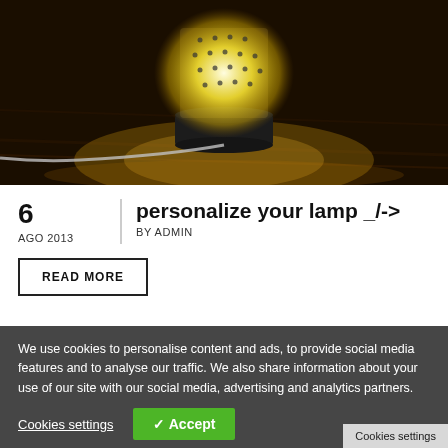[Figure (photo): Glowing LED lamp on a dark wooden surface, warm yellow light, with a cable visible]
personalize your lamp _/->
6
AGO 2013
BY ADMIN
READ MORE
We use cookies to personalise content and ads, to provide social media features and to analyse our traffic. We also share information about your use of our site with our social media, advertising and analytics partners.
Cookies settings
✓ Accept
Cookies settings